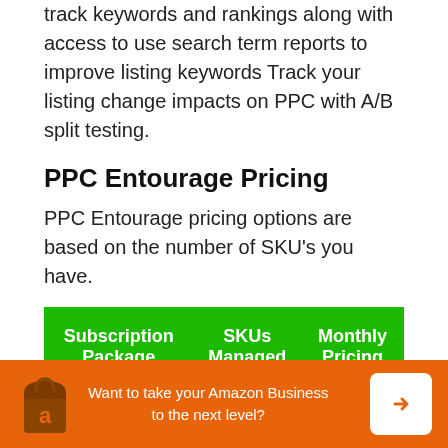track keywords and rankings along with access to use search term reports to improve listing keywords Track your listing change impacts on PPC with A/B split testing.
PPC Entourage Pricing
PPC Entourage pricing options are based on the number of SKU's you have.
| Subscription Package | SKUs Managed | Monthly Pricing |
| --- | --- | --- |